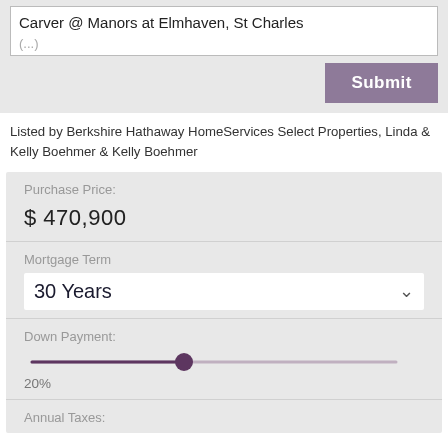Carver @ Manors at Elmhaven, St Charles
Listed by Berkshire Hathaway HomeServices Select Properties, Linda & Kelly Boehmer & Kelly Boehmer
Purchase Price:
$ 470,900
Mortgage Term
30 Years
Down Payment:
20%
Annual Taxes: